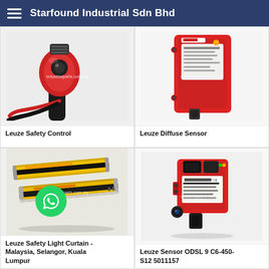Starfound Industrial Sdn Bhd
[Figure (photo): Leuze safety control sensor with red body and black cable, close-up photo with watermark industrialparts.com.my]
Leuze Safety Control
[Figure (photo): Leuze diffuse sensor red rectangular body with mounting thread, watermark industrialparts.com.my]
Leuze Diffuse Sensor
[Figure (photo): Leuze safety light curtain - two yellow/black bar guards, watermark industrialparts.com.my]
Leuze Safety Light Curtain - Malaysia, Selangor, Kuala Lumpur
[Figure (photo): Leuze Sensor ODSL 9 C6-450-S12 5011157 red square photoelectric sensor with lens, watermark industrialparts.com.my]
Leuze Sensor ODSL 9 C6-450-S12 5011157